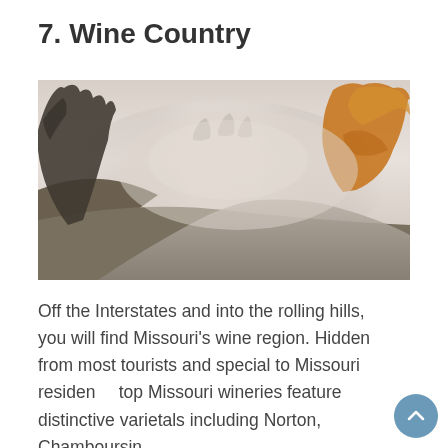7. Wine Country
[Figure (photo): A misty, foggy winding road through rolling hills with autumn trees — tall dark trees on the left and golden-leaved trees on the right disappearing into thick fog]
Off the Interstates and into the rolling hills, you will find Missouri's wine region. Hidden from most tourists and special to Missouri residents, top Missouri wineries feature distinctive varietals including Norton, Chamboursin